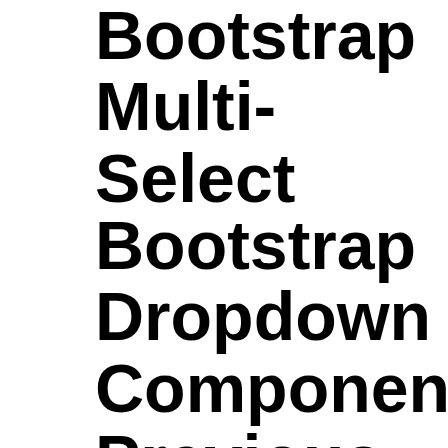Bootstrap Multi-Select
Bootstrap Dropdown Components Previous Next Dropdowns. For